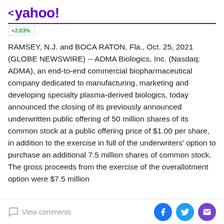< yahoo!
+2.03%
RAMSEY, N.J. and BOCA RATON, Fla., Oct. 25, 2021 (GLOBE NEWSWIRE) -- ADMA Biologics, Inc. (Nasdaq: ADMA), an end-to-end commercial biopharmaceutical company dedicated to manufacturing, marketing and developing specialty plasma-derived biologics, today announced the closing of its previously announced underwritten public offering of 50 million shares of its common stock at a public offering price of $1.00 per share, in addition to the exercise in full of the underwriters' option to purchase an additional 7.5 million shares of common stock. The gross proceeds from the exercise of the overallotment option were $7.5 million
View comments